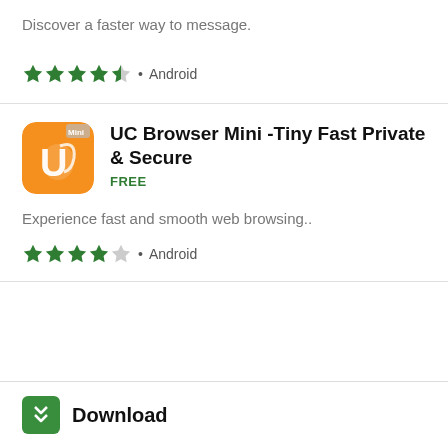Discover a faster way to message.
★★★★½ • Android
[Figure (logo): UC Browser Mini app icon — orange rounded square with white UC logo (stylized letter U with a fox/squirrel figure)]
UC Browser Mini -Tiny Fast Private & Secure
FREE
Experience fast and smooth web browsing..
★★★★☆ • Android
[Figure (logo): Download button icon — green rounded square with white double chevron down arrow]
Download